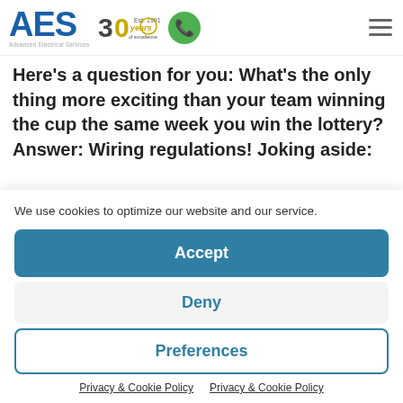[Figure (logo): AES Advanced Electrical Services logo with 30 years of excellence badge, green phone icon, and hamburger menu icon]
Here's a question for you: What's the only thing more exciting than your team winning the cup the same week you win the lottery? Answer: Wiring regulations! Joking aside:
We use cookies to optimize our website and our service.
Accept
Deny
Preferences
Privacy & Cookie Policy   Privacy & Cookie Policy